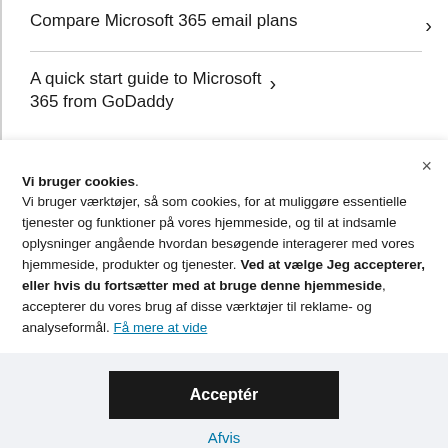Compare Microsoft 365 email plans
A quick start guide to Microsoft 365 from GoDaddy
Vi bruger cookies. Vi bruger værktøjer, så som cookies, for at muliggøre essentielle tjenester og funktioner på vores hjemmeside, og til at indsamle oplysninger angående hvordan besøgende interagerer med vores hjemmeside, produkter og tjenester. Ved at vælge Jeg accepterer, eller hvis du fortsætter med at bruge denne hjemmeside, accepterer du vores brug af disse værktøjer til reklame- og analyseformål. Få mere at vide
Acceptér
Afvis
Administrer indstillinger